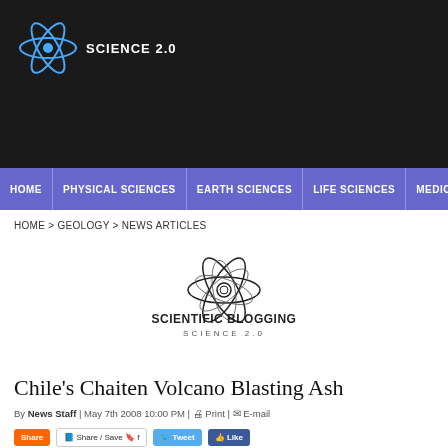[Figure (logo): Science 2.0 atom logo with text SCIENCE 2.0 in white on dark background header]
HOME | PHYSICAL SCIENCES | EARTH SCIENCES | LIFE SCIENCES | MEDICINE
HOME > GEOLOGY > NEWS ARTICLES
[Figure (logo): Scientific Blogging Science 2.0 atom logo centered on white background]
Chile's Chaiten Volcano Blasting Ash
By News Staff | May 7th 2008 10:00 PM | Print | E-mail